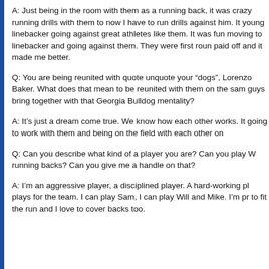A: Just being in the room with them as a running back, it was crazy running drills with them to now I have to run drills against him. It young linebacker going against great athletes like them. It was fun moving to linebacker and going against them. They were first roun paid off and it made me better.
Q: You are being reunited with quote unquote your “dogs”, Lorenzo Baker. What does that mean to be reunited with them on the sam guys bring together with that Georgia Bulldog mentality?
A: It’s just a dream come true. We know how each other works. It going to work with them and being on the field with each other on
Q: Can you describe what kind of a player you are? Can you play W running backs? Can you give me a handle on that?
A: I’m an aggressive player, a disciplined player. A hard-working pl plays for the team. I can play Sam, I can play Will and Mike. I’m pr to fit the run and I love to cover backs too.